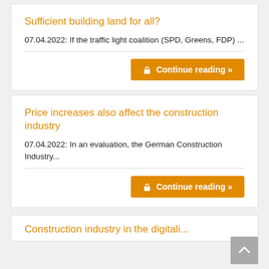Sufficient building land for all?
07.04.2022: If the traffic light coalition (SPD, Greens, FDP) ...
Continue reading »
Price increases also affect the construction industry
07.04.2022: In an evaluation, the German Construction Industry...
Continue reading »
Construction industry in the digitali...